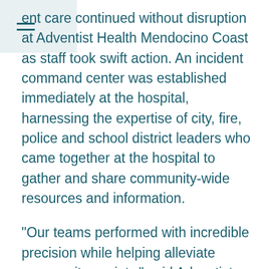≡
ent care continued without disruption at Adventist Health Mendocino Coast as staff took swift action. An incident command center was established immediately at the hospital, harnessing the expertise of city, fire, police and school district leaders who came together at the hospital to gather and share community-wide resources and information.
“Our teams performed with incredible precision while helping alleviate community anxiety,” said Adventist Health Mendocino Coast President Judy Leach. “Several of our team members took on additional shifts, and some even spent